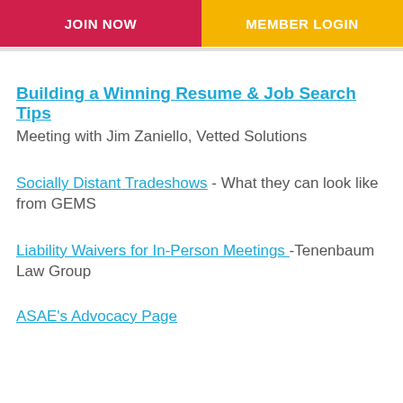JOIN NOW | MEMBER LOGIN
Building a Winning Resume & Job Search Tips
Meeting with Jim Zaniello, Vetted Solutions
Socially Distant Tradeshows - What they can look like from GEMS
Liability Waivers for In-Person Meetings -Tenenbaum Law Group
ASAE's Advocacy Page